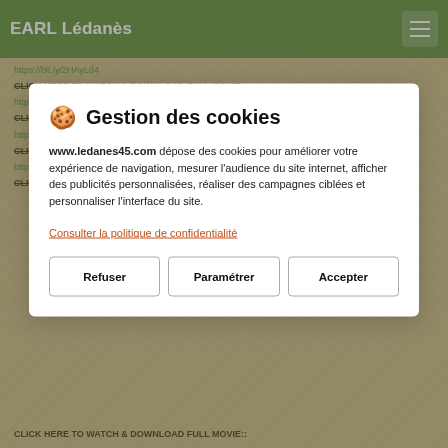EARL Lédanès
https://bit.ly/2HAyLd4
CLICK HERE TO WATCH & DOWNLOAD FULL MOVIE:: https://bit.ly/2HAyLd4
CLICK HERE TO WATCH & DOWNLOAD FULL MOVIE:: https://bit.ly/2HAyLd4
CLICK HERE TO WATCH & DOWNLOAD FULL MOVIE:: https://bit.ly/2HAyLd4
CLICK HERE TO WATCH & DOWNLOAD FULL MOVIE::
🍪 Gestion des cookies
www.ledanes45.com dépose des cookies pour améliorer votre expérience de navigation, mesurer l'audience du site internet, afficher des publicités personnalisées, réaliser des campagnes ciblées et personnaliser l'interface du site.
Consulter la politique de confidentialité
Refuser
Paramétrer
Accepter
CLICK HERE TO WATCH & DOWNLOAD FULL MOVIE::